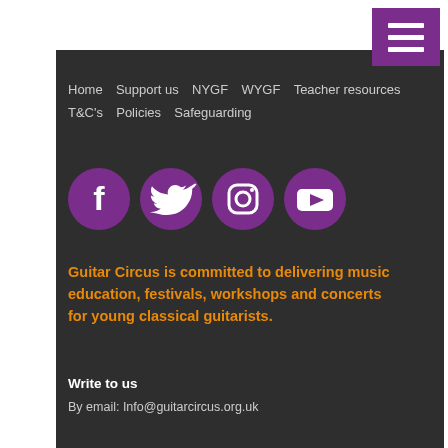[Figure (other): Purple hamburger menu button with three white horizontal bars, positioned top right]
Home  Support us  NYGF  WYGF  Teacher resources  T&C's  Policies  Safeguarding
[Figure (other): Four social media icons in purple circles: Facebook, Twitter, Instagram, YouTube]
Guitar Circus is committed to delivering music education, festivals, workshops and concerts for young classical guitarists.
Write to us
By email: Info@guitarcircus.org.uk